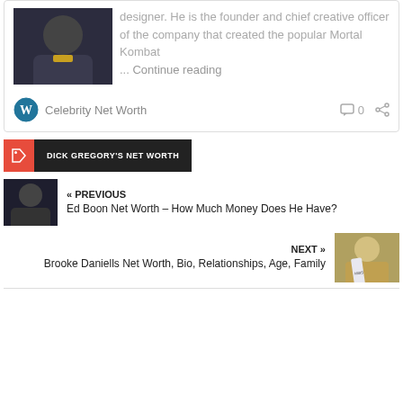designer. He is the founder and chief creative officer of the company that created the popular Mortal Kombat … Continue reading
Celebrity Net Worth  0
DICK GREGORY'S NET WORTH
« PREVIOUS
Ed Boon Net Worth – How Much Money Does He Have?
NEXT »
Brooke Daniells Net Worth, Bio, Relationships, Age, Family